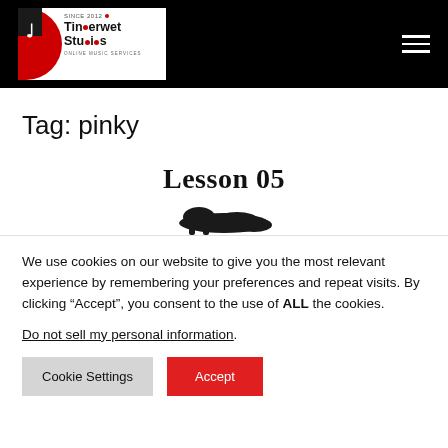Tinderwet Studios - Online Music Services
Tag: pinky
Lesson 05
[Figure (illustration): Silhouette of a small animal (cat or similar) in black]
We use cookies on our website to give you the most relevant experience by remembering your preferences and repeat visits. By clicking “Accept”, you consent to the use of ALL the cookies.
Do not sell my personal information.
Cookie Settings   Accept